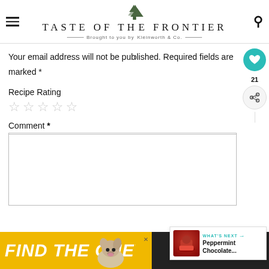TASTE OF THE FRONTIER — Brought to you by Kleinworth & Co.
Your email address will not be published. Required fields are marked *
Recipe Rating
☆☆☆☆☆
Comment *
[Figure (screenshot): Comment text area input box]
[Figure (infographic): What's Next overlay with image of Peppermint Chocolate... and share/heart buttons]
[Figure (infographic): Ad banner: FIND THE ONE with dog image]